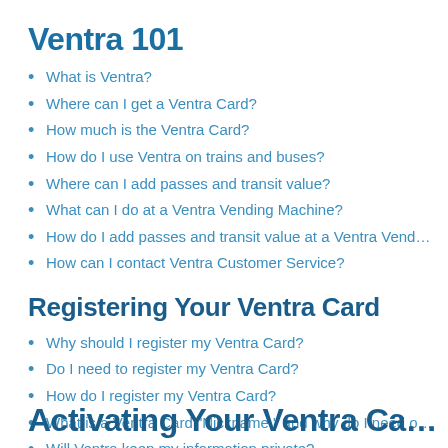Ventra 101
What is Ventra?
Where can I get a Ventra Card?
How much is the Ventra Card?
How do I use Ventra on trains and buses?
Where can I add passes and transit value?
What can I do at a Ventra Vending Machine?
How do I add passes and transit value at a Ventra Vend…
How can I contact Ventra Customer Service?
Registering Your Ventra Card
Why should I register my Ventra Card?
Do I need to register my Ventra Card?
How do I register my Ventra Card?
What is a Ventra Card "Nickname," and why do I need o…
Will Ventra keep my information private?
Activating Your Ventra Ca…